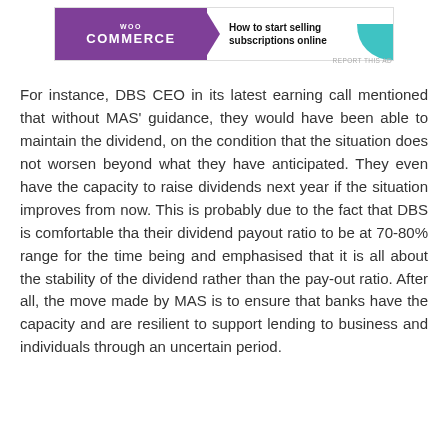[Figure (other): WooCommerce advertisement banner with purple logo on left and text 'How to start selling subscriptions online' on right, with teal arc graphic element]
For instance, DBS CEO in its latest earning call mentioned that without MAS' guidance, they would have been able to maintain the dividend, on the condition that the situation does not worsen beyond what they have anticipated. They even have the capacity to raise dividends next year if the situation improves from now. This is probably due to the fact that DBS is comfortable tha their dividend payout ratio to be at 70-80% range for the time being and emphasised that it is all about the stability of the dividend rather than the pay-out ratio. After all, the move made by MAS is to ensure that banks have the capacity and are resilient to support lending to business and individuals through an uncertain period.